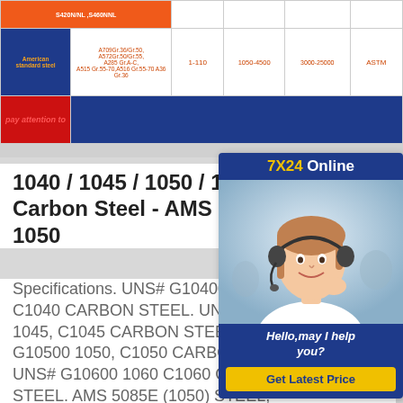|  | Steel grade | Tensile strength (MPa) | Yield strength (MPa) | Elongation (%) | Standard |
| --- | --- | --- | --- | --- | --- |
|  | S420N/NL, S460NNL |  |  |  |  |
| American standard steel | A709Gr.36/Gr.50, A572Gr.50/Gr.55, A285 Gr.A-C, A515 Gr.55-70,A516 Gr.55-70 A36 Gr.36 | 1-110 | 1050-4500 | 3000-25000 | ASTM |
| pay attention to |  |  |  |  |  |
1040 / 1045 / 1050 / 1060 Medium Carbon Steel - AMS Carbon Steel 1050
Specifications. UNS# G10400 1040, C1040 CARBON STEEL. UNS# G10450 1045, C1045 CARBON STEEL. UNS# G10500 1050, C1050 CARBON STEEL. UNS# G10600 1060 C1060 CARBON STEEL. AMS 5085E (1050) STEEL, SHEET, STRIP PLATE. AMS 7240E (1060) WASHERS, SPRING LOCK, CARBON STEEL. ASTM A-108 STANDARD QUALITY, COLD FINISHED
[Figure (photo): Customer service representative with headset, chat widget overlay with '7X24 Online' header, 'Hello, may I help you?' message and 'Get Latest Price' button]